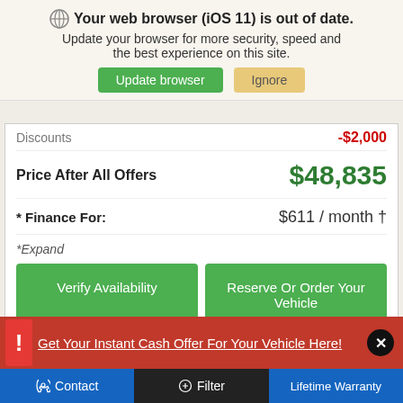Your web browser (iOS 11) is out of date. Update your browser for more security, speed and the best experience on this site. Update browser | Ignore
Discounts -$2,000
Price After All Offers $48,835
* Finance For: $611 / month †
* Expand
Verify Availability
Reserve Or Order Your Vehicle
Get Your Instant Cash Offer For Your Vehicle Here!
Contact  Filter  Lifetime Warranty